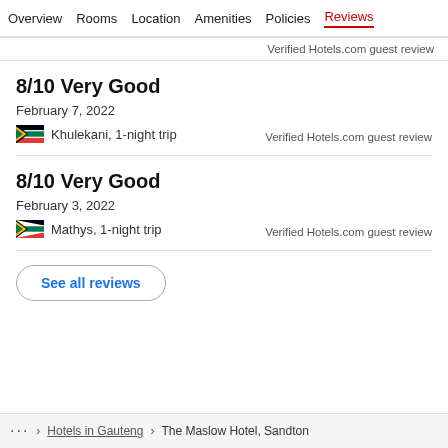Overview  Rooms  Location  Amenities  Policies  Reviews
Verified Hotels.com guest review
8/10 Very Good
February 7, 2022
Khulekani, 1-night trip
Verified Hotels.com guest review
8/10 Very Good
February 3, 2022
Mathys, 1-night trip
Verified Hotels.com guest review
See all reviews
… > Hotels in Gauteng > The Maslow Hotel, Sandton